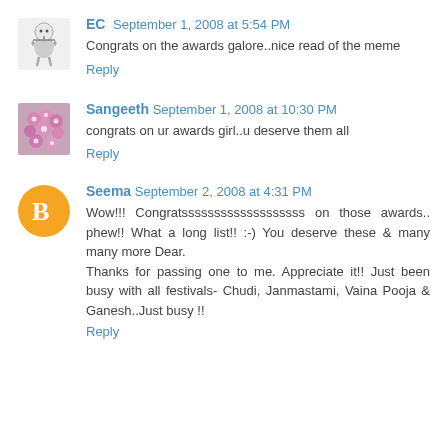[Figure (illustration): Avatar icon for user EC - cartoon character with scales]
EC September 1, 2008 at 5:54 PM
Congrats on the awards galore..nice read of the meme
Reply
[Figure (photo): Avatar photo for user Sangeeth - pink flowers]
Sangeeth September 1, 2008 at 10:30 PM
congrats on ur awards girl..u deserve them all
Reply
[Figure (illustration): Default Blogger avatar - orange circle with white B]
Seema September 2, 2008 at 4:31 PM
Wow!!! Congratsssssssssssssssssss on those awards..phew!! What a long list!! :-) You deserve these & many many more Dear.
Thanks for passing one to me. Appreciate it!! Just been busy with all festivals- Chudi, Janmastami, Vaina Pooja & Ganesh..Just busy !!
Reply